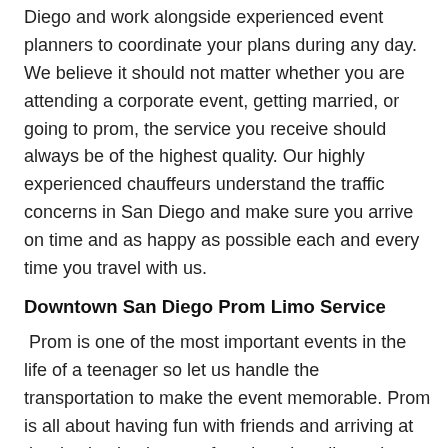Diego and work alongside experienced event planners to coordinate your plans during any day. We believe it should not matter whether you are attending a corporate event, getting married, or going to prom, the service you receive should always be of the highest quality. Our highly experienced chauffeurs understand the traffic concerns in San Diego and make sure you arrive on time and as happy as possible each and every time you travel with us.
Downtown San Diego Prom Limo Service
Prom is one of the most important events in the life of a teenager so let us handle the transportation to make the event memorable. Prom is all about having fun with friends and arriving at the destination in one of our luxurious limousines will sure make that special night one to remember.